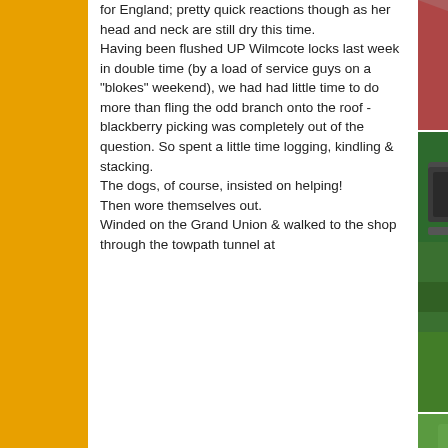for England; pretty quick reactions though as her head and neck are still dry this time.
Having been flushed UP Wilmcote locks last week in double time (by a load of service guys on a "blokes" weekend), we had had little time to do more than fling the odd branch onto the roof - blackberry picking was completely out of the question. So spent a little time logging, kindling & stacking.
The dogs, of course, insisted on helping!
Then wore themselves out.
Winded on the Grand Union & walked to the shop through the towpath tunnel at
[Figure (photo): Partial photo of a red object, possibly a boat or vehicle interior]
[Figure (photo): Photo of a canal narrowboat moored alongside greenery]
[Figure (photo): Photo of green vegetation or garden area]